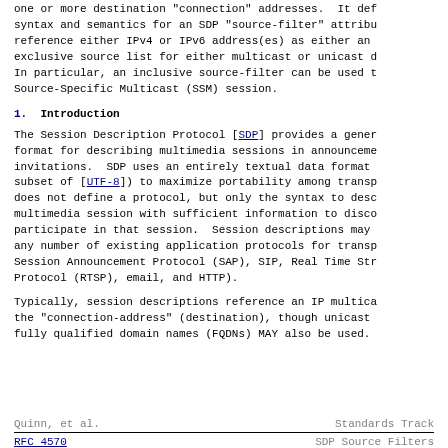one or more destination "connection" addresses.  It def syntax and semantics for an SDP "source-filter" attribu reference either IPv4 or IPv6 address(es) as either an exclusive source list for either multicast or unicast d In particular, an inclusive source-filter can be used t Source-Specific Multicast (SSM) session.
1.  Introduction
The Session Description Protocol [SDP] provides a gener format for describing multimedia sessions in announceme invitations.  SDP uses an entirely textual data format subset of [UTF-8]) to maximize portability among transp does not define a protocol, but only the syntax to desc multimedia session with sufficient information to disco participate in that session.  Session descriptions may any number of existing application protocols for transp Session Announcement Protocol (SAP), SIP, Real Time Str Protocol (RTSP), email, and HTTP).
Typically, session descriptions reference an IP multica the "connection-address" (destination), though unicast fully qualified domain names (FQDNs) MAY also be used.
Quinn, et al.                    Standards Track
RFC 4570                         SDP Source Filters